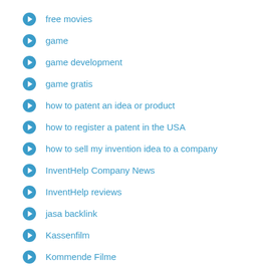free movies
game
game development
game gratis
how to patent an idea or product
how to register a patent in the USA
how to sell my invention idea to a company
InventHelp Company News
InventHelp reviews
jasa backlink
Kassenfilm
Kommende Filme
mom inventors
movie
Movies
Movies Download